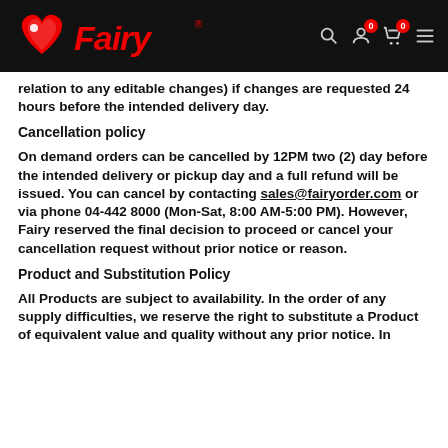Fairy [logo/navigation header]
relation to any editable changes) if changes are requested 24 hours before the intended delivery day.
Cancellation policy
On demand orders can be cancelled by 12PM two (2) day before the intended delivery or pickup day and a full refund will be issued. You can cancel by contacting sales@fairyorder.com or via phone 04-442 8000 (Mon-Sat, 8:00 AM-5:00 PM). However, Fairy reserved the final decision to proceed or cancel your cancellation request without prior notice or reason.
Product and Substitution Policy
All Products are subject to availability. In the order of any supply difficulties, we reserve the right to substitute a Product of equivalent value and quality without any prior notice. In